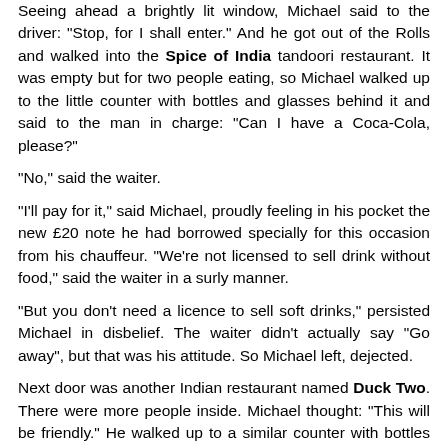Seeing ahead a brightly lit window, Michael said to the driver: "Stop, for I shall enter." And he got out of the Rolls and walked into the Spice of India tandoori restaurant. It was empty but for two people eating, so Michael walked up to the little counter with bottles and glasses behind it and said to the man in charge: "Can I have a Coca-Cola, please?"
"No," said the waiter.
"I'll pay for it," said Michael, proudly feeling in his pocket the new £20 note he had borrowed specially for this occasion from his chauffeur. "We're not licensed to sell drink without food," said the waiter in a surly manner.
"But you don't need a licence to sell soft drinks," persisted Michael in disbelief. The waiter didn't actually say "Go away", but that was his attitude. So Michael left, dejected.
Next door was another Indian restaurant named Duck Two. There were more people inside. Michael thought: "This will be friendly." He walked up to a similar counter with bottles and glasses, he asked the same question: "Could I please have a Coca-Cola?"
"No," said the waiter with even more intractable gloom. "But..."